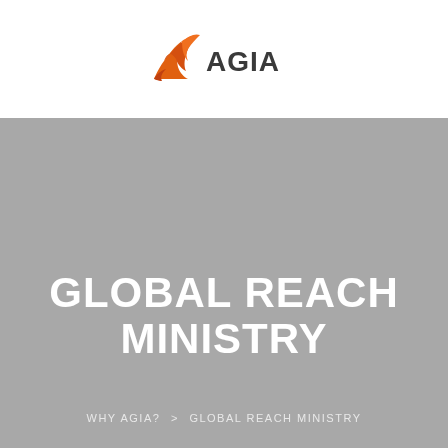[Figure (logo): AGIA logo with orange phoenix/wing mark on the left and 'AGIA' text in dark gray on the right]
GLOBAL REACH MINISTRY
WHY AGIA? > GLOBAL REACH MINISTRY